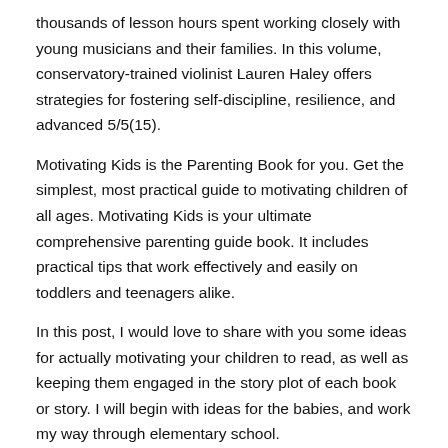thousands of lesson hours spent working closely with young musicians and their families. In this volume, conservatory-trained violinist Lauren Haley offers strategies for fostering self-discipline, resilience, and advanced 5/5(15).
Motivating Kids is the Parenting Book for you. Get the simplest, most practical guide to motivating children of all ages. Motivating Kids is your ultimate comprehensive parenting guide book. It includes practical tips that work effectively and easily on toddlers and teenagers alike.
In this post, I would love to share with you some ideas for actually motivating your children to read, as well as keeping them engaged in the story plot of each book or story. I will begin with ideas for the babies, and work my way through elementary school.
Motivating kids about school can be rough – especially if they've already told you that they hate it. As a parent, it's difficult to know exactly what you can do at home. These 5 powerful methods will increase your child's motivation to achieve.